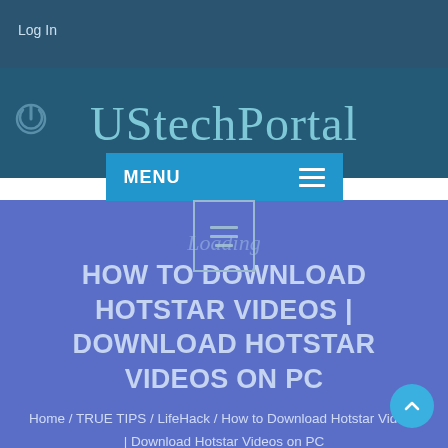Log In
UStechPortal
MENU
[Figure (screenshot): Loading modal overlay with rectangle icon showing horizontal lines]
Loading
HOW TO DOWNLOAD HOTSTAR VIDEOS | DOWNLOAD HOTSTAR VIDEOS ON PC
Home / TRUE TIPS / LifeHack / How to Download Hotstar Videos | Download Hotstar Videos on PC